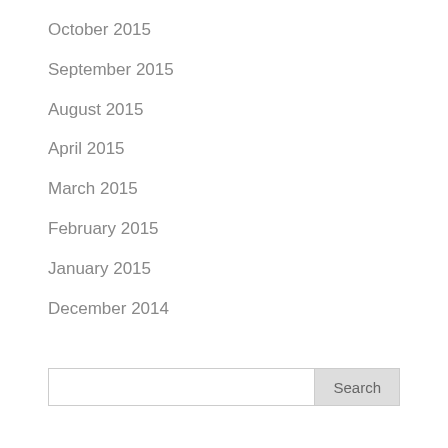October 2015
September 2015
August 2015
April 2015
March 2015
February 2015
January 2015
December 2014